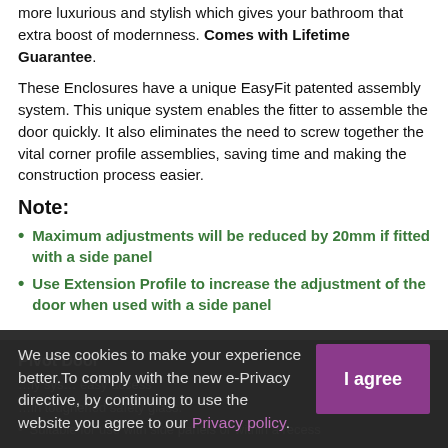more luxurious and stylish which gives your bathroom that extra boost of modernness. Comes with Lifetime Guarantee.
These Enclosures have a unique EasyFit patented assembly system. This unique system enables the fitter to assemble the door quickly. It also eliminates the need to screw together the vital corner profile assemblies, saving time and making the construction process easier.
Note:
Maximum adjustments will be reduced by 20mm if fitted with a side panel
Use Extension Profile to increase the adjustment of the door when used with a side panel
Pivot Door
We use cookies to make your experience better. To comply with the new e-Privacy directive, by continuing to use the website you agree to our Privacy policy.
Suitable for use with side panels or within a recess